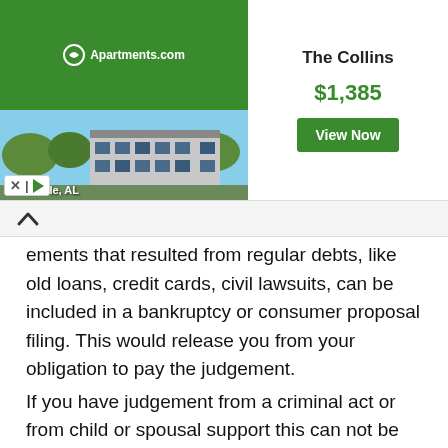[Figure (screenshot): Apartments.com advertisement banner for 'The Collins' in Huntsville, AL, showing $1,385 price and a View Now button]
ements that resulted from regular debts, like old loans, credit cards, civil lawsuits, can be included in a bankruptcy or consumer proposal filing. This would release you from your obligation to pay the judgement.
If you have judgement from a criminal act or from child or spousal support this can not be included in a bankruptcy or consumer proposal.
A bankruptcy filing stays on your record for six years from your date of discharge. After that time period, the bankruptcy and the debt that was part of the bankruptcy are removed from your credit history.